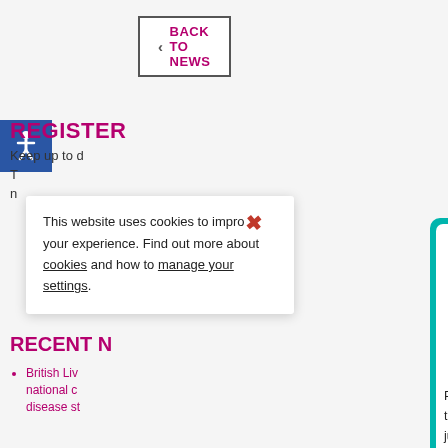< BACK TO NEWS
[Figure (illustration): Blue accessibility icon with wheelchair user symbol on blue square background]
REGISTER
Keep up to d
T
n
[Figure (screenshot): Teal-bordered modal card with Stamp Out Stigma banner (dark pink/maroon tilted banner with teal text), close X button, sign to ma partial text, body text: People with liver disease, whatever the cause, should be supported not judged. Let's Stamp Out Stigma., and ADD YOUR NAME dark pink button]
This website uses cookies to improve your experience. Find out more about cookies and how to manage your settings.
RECENT N
British Liv national c disease st